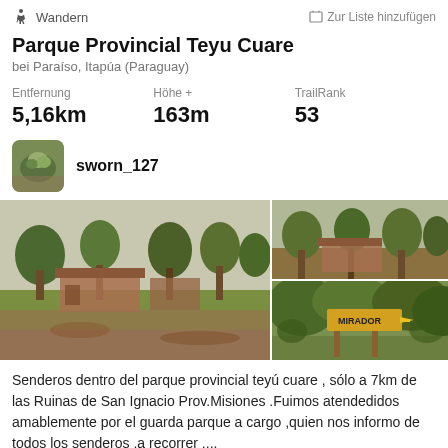Wandern   Zur Liste hinzufügen
Parque Provincial Teyu Cuare
bei Paraíso, Itapúa (Paraguay)
Entfernung 5,16km   Höhe + 163m   TrailRank 53
sworn_127
[Figure (photo): Three photos of Parque Provincial Teyu Cuare: main photo showing park buildings and trees, top-right showing trees and structure, bottom-right showing a MIRADOR sign with yellow arrow]
Senderos dentro del parque provincial teyú cuare , sólo a 7km de las Ruinas de San Ignacio Prov.Misiones .Fuimos atendedidos amablemente por el guarda parque a cargo ,quien nos informo de todos los senderos ,a recorrer ,...